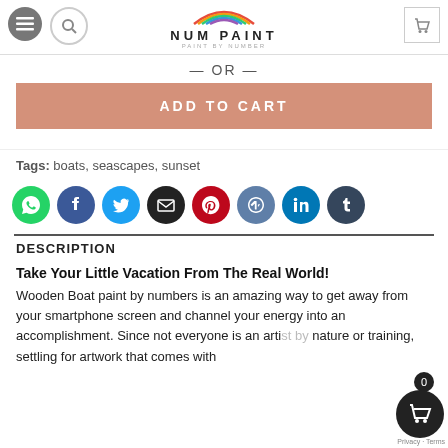NUM PAINT — PAINT BY NUMBER
— OR —
ADD TO CART
Tags: boats, seascapes, sunset
[Figure (infographic): Social share icons: WhatsApp (green), Facebook (blue), Twitter (blue), Email (black), Pinterest (red), VK (steel blue), LinkedIn (blue), Tumblr (dark blue)]
DESCRIPTION
Take Your Little Vacation From The Real World!
Wooden Boat paint by numbers is an amazing way to get away from your smartphone screen and channel your energy into an accomplishment. Since not everyone is an artist by nature or training, settling for artwork that comes with